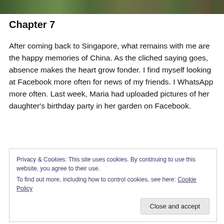[Figure (photo): Partial view of a photo strip at top of page showing outdoor garden/park scene with greenery]
Chapter 7
After coming back to Singapore, what remains with me are the happy memories of China. As the cliched saying goes, absence makes the heart grow fonder. I find myself looking at Facebook more often for news of my friends. I WhatsApp more often. Last week, Maria had uploaded pictures of her daughter's birthday party in her garden on Facebook.
Privacy & Cookies: This site uses cookies. By continuing to use this website, you agree to their use.
To find out more, including how to control cookies, see here: Cookie Policy
Close and accept